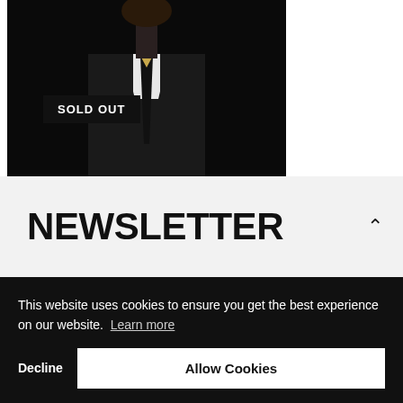[Figure (photo): Product photo on dark background showing a person in a black suit and tie from the neck down, partially cropped]
SOLD OUT
NEWSLETTER
This website uses cookies to ensure you get the best experience on our website. Learn more
Decline
Allow Cookies